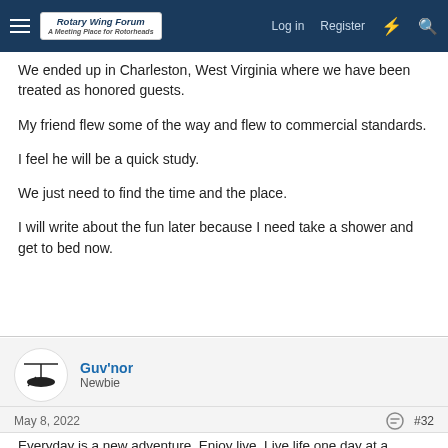Rotary Wing Forum — Log in | Register
We ended up in Charleston, West Virginia where we have been treated as honored guests.
My friend flew some of the way and flew to commercial standards.
I feel he will be a quick study.
We just need to find the time and the place.
I will write about the fun later because I need take a shower and get to bed now.
Guv'nor
Newbie
May 8, 2022  #32
Everyday is a new adventure. Enjoy live. Live life one day at a